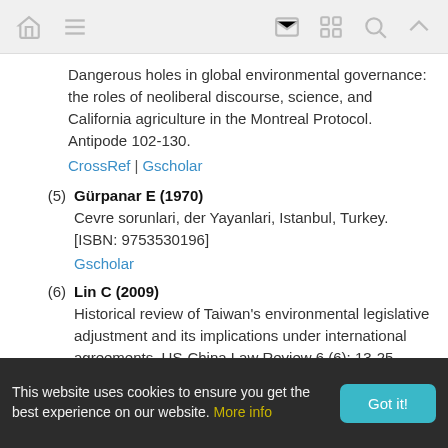[navigation icons: home, menu, email, grid, search, up]
Dangerous holes in global environmental governance: the roles of neoliberal discourse, science, and California agriculture in the Montreal Protocol. Antipode 102-130.
CrossRef | Gscholar
(5) Gürpanar E (1970)
Cevre sorunlari, der Yayanlari, Istanbul, Turkey. [ISBN: 9753530196]
Gscholar
(6) Lin C (2009)
Historical review of Taiwan's environmental legislative adjustment and its implications under international agreements. US-China Law Review 6 (6): 13-25.
This website uses cookies to ensure you get the best experience on our website. More info   Got it!